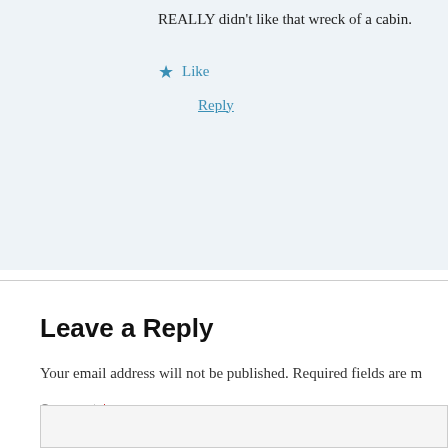REALLY didn't like that wreck of a cabin.
★ Like
Reply
Leave a Reply
Your email address will not be published. Required fields are m
Comment *